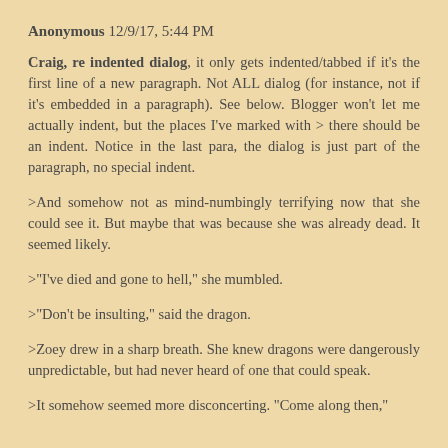Anonymous 12/9/17, 5:44 PM
Craig, re indented dialog, it only gets indented/tabbed if it's the first line of a new paragraph. Not ALL dialog (for instance, not if it's embedded in a paragraph). See below. Blogger won't let me actually indent, but the places I've marked with > there should be an indent. Notice in the last para, the dialog is just part of the paragraph, no special indent.
>And somehow not as mind-numbingly terrifying now that she could see it. But maybe that was because she was already dead. It seemed likely.
>"I've died and gone to hell," she mumbled.
>"Don't be insulting," said the dragon.
>Zoey drew in a sharp breath. She knew dragons were dangerously unpredictable, but had never heard of one that could speak.
>It somehow seemed more disconcerting. "Come along then,"